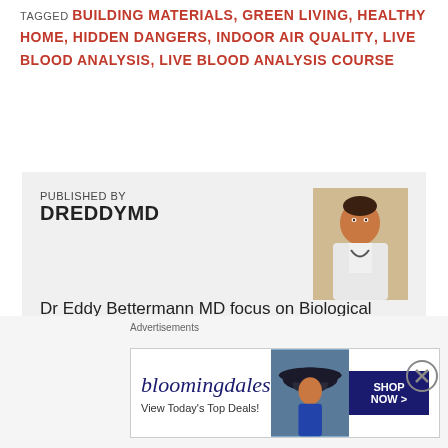TAGGED BUILDING MATERIALS, GREEN LIVING, HEALTHY HOME, HIDDEN DANGERS, INDOOR AIR QUALITY, LIVE BLOOD ANALYSIS, LIVE BLOOD ANALYSIS COURSE
PUBLISHED BY
dreddymd
[Figure (photo): Photo of Dr Eddy Bettermann MD in a white coat with stethoscope]
Dr Eddy Bettermann MD focus on Biological Medicine (Biologische Medizin), Darkfield Microscopy (Dunkelfeld Mikroskopie), Orthomolecular Medicine (Orthomolekulare Medizin), Ayurvedic Medicine (Ayurveda),
Advertisements
[Figure (other): Bloomingdales advertisement banner: 'bloomingdales View Today's Top Deals! SHOP NOW >']